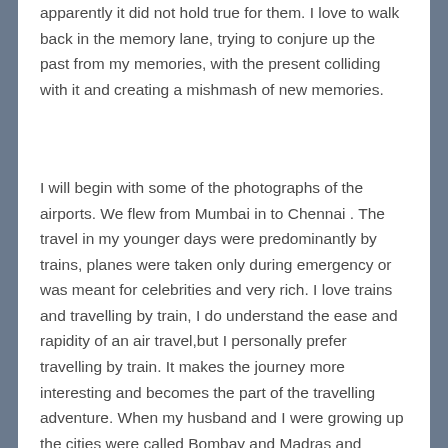apparently it did not hold true for them. I love to walk back in the memory lane, trying to conjure up the past from my memories, with the present colliding with it and creating a mishmash of new memories.
I will begin with some of the photographs of the airports. We flew from Mumbai in to Chennai . The travel in my younger days were predominantly by trains, planes were taken only during emergency or was meant for celebrities and very rich. I love trains and travelling by train, I do understand the ease and rapidity of an air travel,but I personally prefer travelling by train. It makes the journey more interesting and becomes the part of the travelling adventure. When my husband and I were growing up the cities were called Bombay and Madras and remained to be called as such , very much in to our adult lives. So sometimes I do refer to the cities